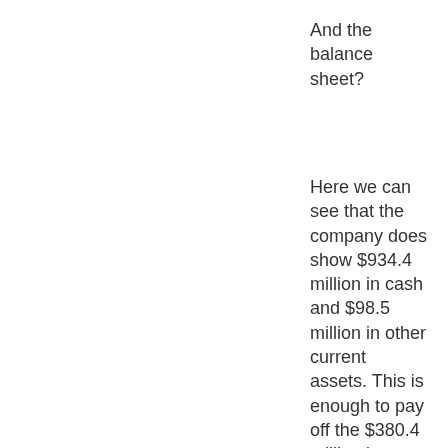And the balance sheet?
Here we can see that the company does show $934.4 million in cash and $98.5 million in other current assets. This is enough to pay off the $380.4 million in current assets, and have